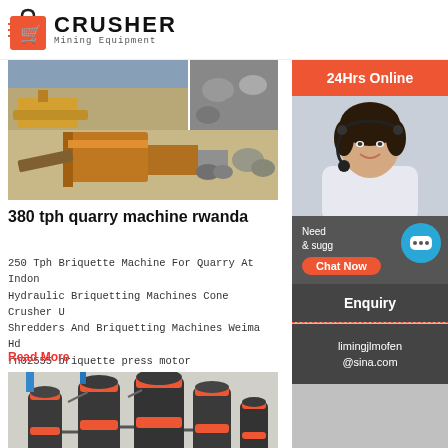CRUSHER Mining Equipment
[Figure (photo): Collage of quarry and crushing equipment in outdoor setting]
380 tph quarry machine rwanda
250 Tph Briquette Machine For Quarry At Indon Hydraulic Briquetting Machines Cone Crusher U Shredders And Briquetting Machines Weima Hd rn02555 briquette press motor
Read More
[Figure (photo): Industrial crushing plant machinery in factory setting]
crushing plant at quarry "d" di